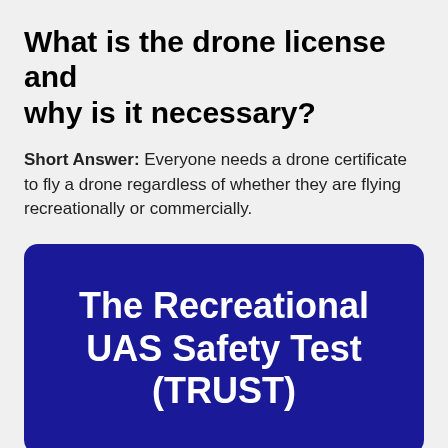What is the drone license and why is it necessary?
Short Answer: Everyone needs a drone certificate to fly a drone regardless of whether they are flying recreationally or commercially.
[Figure (infographic): Dark blue rounded rectangle box containing bold white text: The Recreational UAS Safety Test (TRUST)]